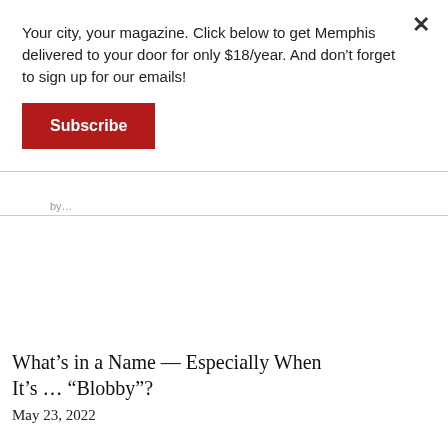Your city, your magazine. Click below to get Memphis delivered to your door for only $18/year. And don't forget to sign up for our emails!
Subscribe
What's in a Name — Especially When It's … "Blobby"?
May 23, 2022